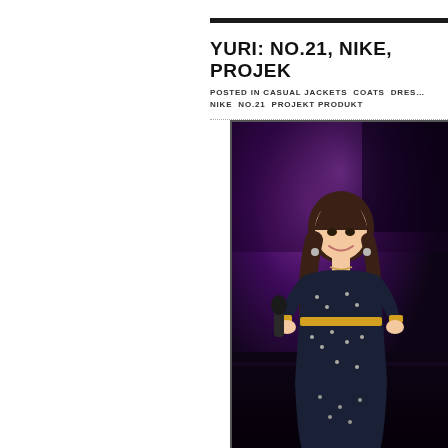YURI: NO.21, NIKE, PROJEKT PRODUKT
POSTED IN CASUAL JACKETS  COATS  DRESSES  NIKE  NO.21  PROJEKT PRODUKT
[Figure (photo): A young Asian woman performing on stage, smiling, holding a microphone, wearing a dark floral dress with yellow trim accents, with purple stage lighting in the background.]